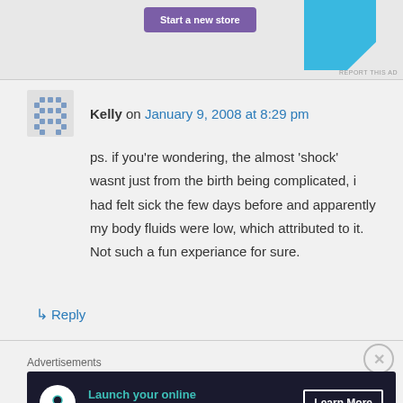[Figure (screenshot): Top advertisement area with purple 'Start a new store' button and blue decorative shape, with 'REPORT THIS AD' text]
Kelly on January 9, 2008 at 8:29 pm
ps. if you're wondering, the almost ‘shock’ wasnt just from the birth being complicated, i had felt sick the few days before and apparently my body fluids were low, which attributed to it. Not such a fun experiance for sure.
↳ Reply
Advertisements
[Figure (screenshot): Advertisement banner: dark background with 'Launch your online course with WordPress' in teal text and 'Learn More' button]